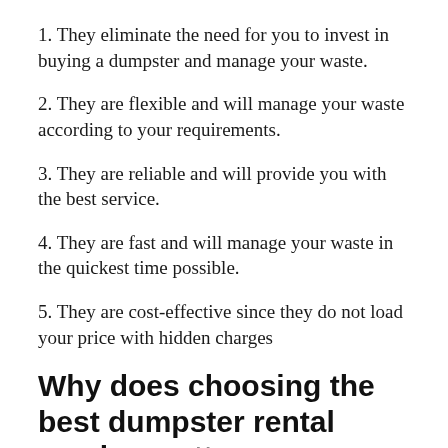1. They eliminate the need for you to invest in buying a dumpster and manage your waste.
2. They are flexible and will manage your waste according to your requirements.
3. They are reliable and will provide you with the best service.
4. They are fast and will manage your waste in the quickest time possible.
5. They are cost-effective since they do not load your price with hidden charges
Why does choosing the best dumpster rental service matter